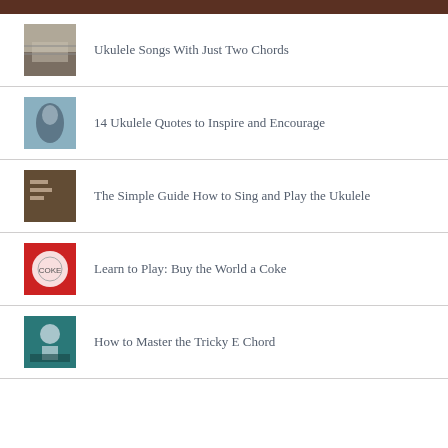Ukulele Songs With Just Two Chords
14 Ukulele Quotes to Inspire and Encourage
The Simple Guide How to Sing and Play the Ukulele
Learn to Play: Buy the World a Coke
How to Master the Tricky E Chord